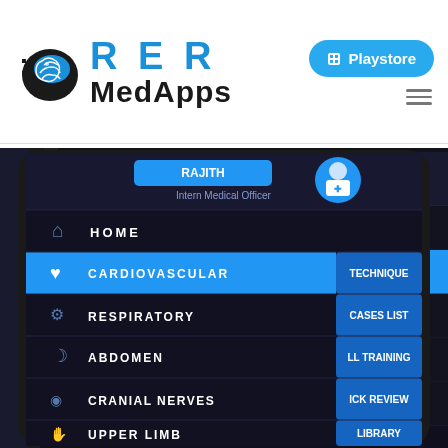[Figure (logo): RER MedApps logo with stylized brain icon, blue RER text and black MedApps text]
[Figure (screenshot): Mobile app screenshot showing RER MedApps navigation menu with user RAJITH (Intern Medical Officer), menu items: HOME, CARDIOVASCULAR (highlighted in blue), RESPIRATORY, ABDOMEN, CRANIAL NERVES, UPPER LIMB, LOWER LIMB, FUNDOSCOPY, and right side buttons: TECHNIQUE, CASES LIST, LL TRAINING, ICK REVIEW, LIBRARY]